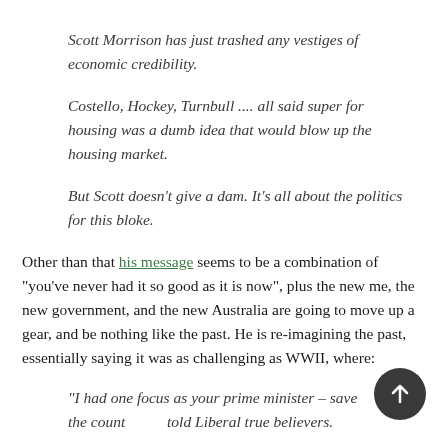Scott Morrison has just trashed any vestiges of economic credibility.
Costello, Hockey, Turnbull .... all said super for housing was a dumb idea that would blow up the housing market.
But Scott doesn’t give a dam. It’s all about the politics for this bloke.
Other than that his message seems to be a combination of “you’ve never had it so good as it is now”, plus the new me, the new government, and the new Australia are going to move up a gear, and be nothing like the past. He is re-imagining the past, essentially saying it was as challenging as WWII, where:
“I had one focus as your prime minister – save the country”, he told Liberal true believers.